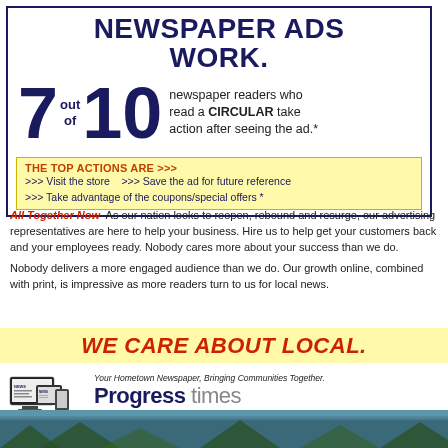NEWSPAPER ADS WORK.
7 out of 10 newspaper readers who read a CIRCULAR take action after seeing the ad.*
THE TOP ACTIONS ARE >>> >>> Visit the store >>> Save the ad for future reference >>> Take advantage of the coupons/special offers *
All Together Now As our nation looks to reopen, rebound and resurge, our advertising representatives are here to help your business. Hire us to help get your customers back and your employees ready. Nobody cares more about your success than we do.
Nobody delivers a more engaged audience than we do. Our growth online, combined with print, is impressive as more readers turn to us for local news.
WE CARE ABOUT LOCAL.
[Figure (logo): Progress times newspaper logo with news device icons]
Print, Digital & Social Solutions for our advertisers. /progresstimes
[Figure (photo): Photo strip at bottom of page]